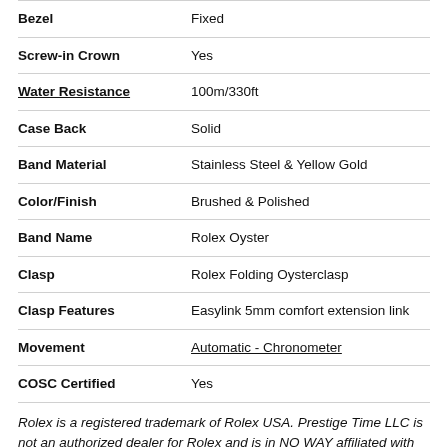| Attribute | Value |
| --- | --- |
| Bezel | Fixed |
| Screw-in Crown | Yes |
| Water Resistance | 100m/330ft |
| Case Back | Solid |
| Band Material | Stainless Steel & Yellow Gold |
| Color/Finish | Brushed & Polished |
| Band Name | Rolex Oyster |
| Clasp | Rolex Folding Oysterclasp |
| Clasp Features | Easylink 5mm comfort extension link |
| Movement | Automatic - Chronometer |
| COSC Certified | Yes |
Rolex is a registered trademark of Rolex USA. Prestige Time LLC is not an authorized dealer for Rolex and is in NO WAY affiliated with Rolex SA or Rolex USA. All Rolex watches sold by Prestige Time LLC are in UNWORN condition.
Polished stainless steel case